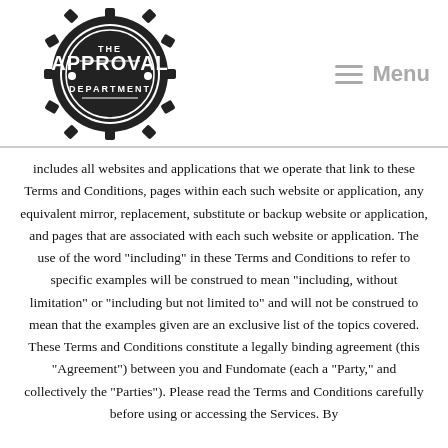[Figure (logo): The Approval Department badge/stamp logo — circular gear-edged seal with 'THE APPROVAL DEPARTMENT' text]
Menu
includes all websites and applications that we operate that link to these Terms and Conditions, pages within each such website or application, any equivalent mirror, replacement, substitute or backup website or application, and pages that are associated with each such website or application. The use of the word “including” in these Terms and Conditions to refer to specific examples will be construed to mean “including, without limitation” or “including but not limited to” and will not be construed to mean that the examples given are an exclusive list of the topics covered. These Terms and Conditions constitute a legally binding agreement (this “Agreement”) between you and Fundomate (each a “Party,” and collectively the “Parties”). Please read the Terms and Conditions carefully before using or accessing the Services. By